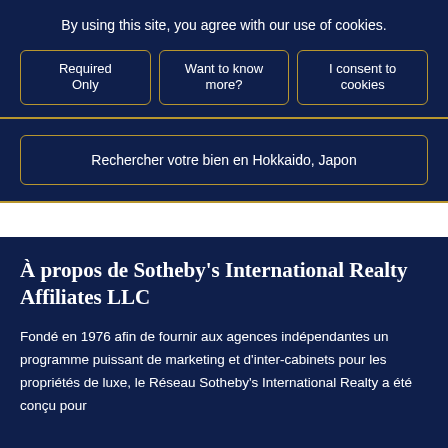By using this site, you agree with our use of cookies.
Required Only
Want to know more?
I consent to cookies
Rechercher votre bien en Hokkaido, Japon
À propos de Sotheby's International Realty Affiliates LLC
Fondé en 1976 afin de fournir aux agences indépendantes un programme puissant de marketing et d'inter-cabinets pour les propriétés de luxe, le Réseau Sotheby's International Realty a été conçu pour